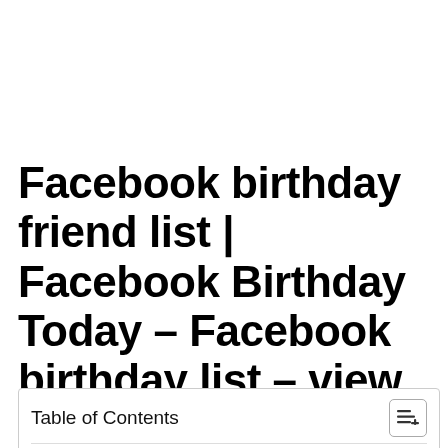Facebook birthday friend list | Facebook Birthday Today – Facebook birthday list – view friends birthday on Facebook
| Table of Contents |
| 1. Facebook birthday friend list | Facebook Birthday Today – |